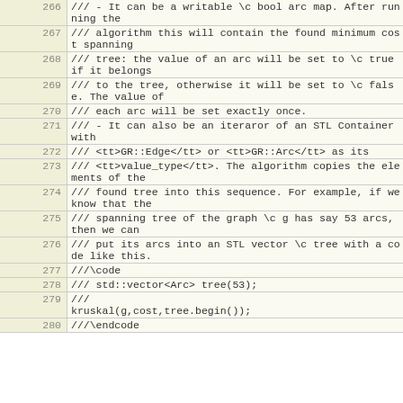| Line | Code |
| --- | --- |
| 266 |   /// - It can be a writable \c bool arc map.  After running the |
| 267 |   /// algorithm this will contain the found minimum cost spanning |
| 268 |   /// tree: the value of an arc will be set to \c true if it belongs |
| 269 |   /// to the tree, otherwise it will be set to \c false. The value of |
| 270 |   /// each arc will be set exactly once. |
| 271 |   /// - It can also be an iteraror of an STL Container with |
| 272 |   /// <tt>GR::Edge</tt> or <tt>GR::Arc</tt> as its |
| 273 |   /// <tt>value_type</tt>.  The algorithm copies the elements of the |
| 274 |   /// found tree into this sequence.  For example, if we know that the |
| 275 |   /// spanning tree of the graph \c g has say 53 arcs, then we can |
| 276 |   /// put its arcs into an STL vector \c tree with a code like this. |
| 277 |   ///\code |
| 278 |   /// std::vector<Arc> tree(53); |
| 279 |   /// |
| 280 |   ///\endcode |